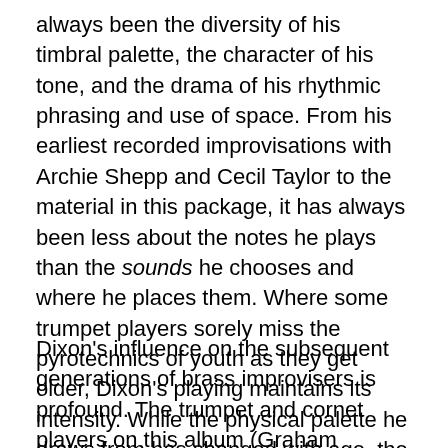always been the diversity of his timbral palette, the character of his tone, and the drama of his rhythmic phrasing and use of space. From his earliest recorded improvisations with Archie Shepp and Cecil Taylor to the material in this package, it has always been less about the notes he plays than the sounds he chooses and where he places them. Where some trumpet players sorely miss the pyrotechnics of youth as they get older, Dixon's playing maintains its intensity. While the physical palette he draws from has changed with age, the mastery with which he wields the brush continues to flourish. Take the openings of Tapestries' two trio pieces, Slivers: Sand Dance for Sophia and Allusions I. What other trumpeter could shatter the silence with that kind of authority?
Dixon's influence on the subsequent generations of brass improvisers is profound. The trumpet and cornet players on this album (Graham Haynes, Stephen Haynes, Rob Mazurek, and myself) are but a few examples of his many